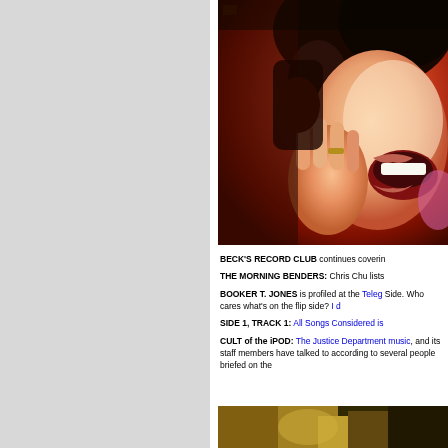[Figure (photo): Person singing or reacting with mouth open wide, holding hand to face, wearing headphones, dramatic red-toned lighting]
BECK'S RECORD CLUB continues coverin
THE MORNING BENDERS: Chris Chu lists
BOOKER T. JONES is profiled at the Teleg Side. Who cares what's on the flip side? I d
SIDE 1, TRACK 1: All Songs Considered is
CULT of the iPOD: The Justice Department music, and its staff members have talked to according to several people briefed on the
[Figure (photo): Bottom partial photo with yellow-green and dark tones, nature scene]